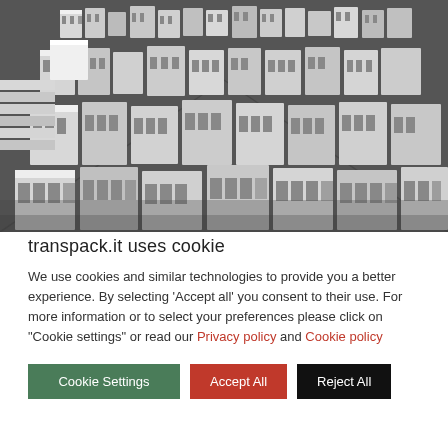[Figure (photo): Aerial black and white photograph of a large warehouse or factory floor showing rows of stacked industrial components, metal extrusions, brackets, and structural parts arranged in a grid pattern on a dark floor.]
transpack.it uses cookie
We use cookies and similar technologies to provide you a better experience. By selecting 'Accept all' you consent to their use. For more information or to select your preferences please click on "Cookie settings" or read our Privacy policy and Cookie policy